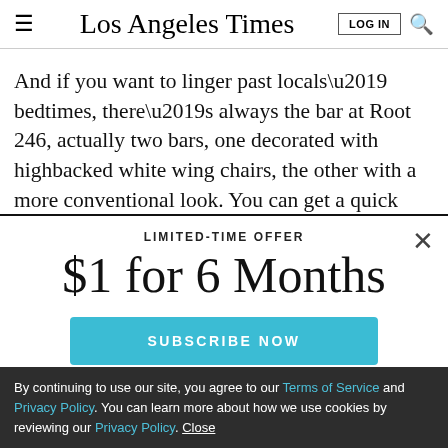Los Angeles Times
And if you want to linger past locals’ bedtimes, there’s always the bar at Root 246, actually two bars, one decorated with highbacked white wing chairs, the other with a more conventional look. You can get a quick bite
LIMITED-TIME OFFER
$1 for 6 Months
SUBSCRIBE NOW
By continuing to use our site, you agree to our Terms of Service and Privacy Policy. You can learn more about how we use cookies by reviewing our Privacy Policy. Close